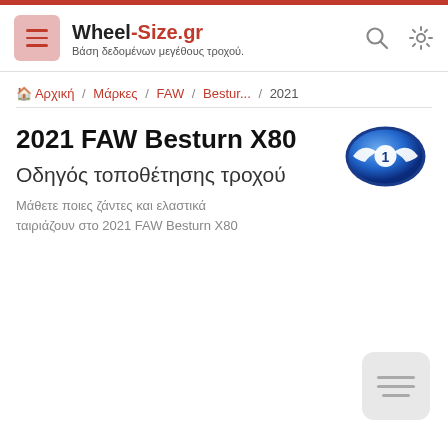Wheel-Size.gr — Βάση δεδομένων μεγέθους τροχού.
Αρχική / Μάρκες / FAW / Bestur... / 2021
2021 FAW Besturn X80
Οδηγός τοποθέτησης τροχού
Μάθετε ποιες ζάντες και ελαστικά ταιριάζουν στο 2021 FAW Besturn X80
[Figure (logo): FAW brand logo — blue oval emblem with stylized wing/arrow design and '1' numeral]